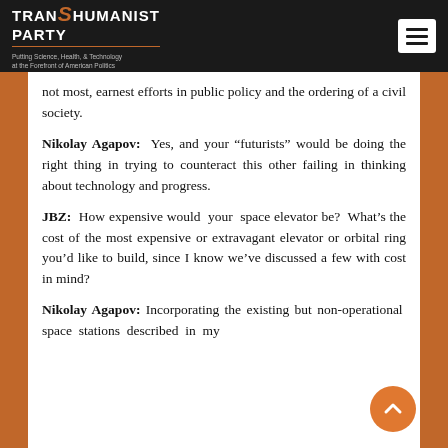TRANSHUMANIST PARTY — Putting Science, Health, & Technology at the Forefront of American Politics
not most, earnest efforts in public policy and the ordering of a civil society.
Nikolay Agapov: Yes, and your “futurists” would be doing the right thing in trying to counteract this other failing in thinking about technology and progress.
JBZ: How expensive would your space elevator be? What’s the cost of the most expensive or extravagant elevator or orbital ring you’d like to build, since I know we’ve discussed a few with cost in mind?
Nikolay Agapov: Incorporating the existing but non-operational space stations described in my